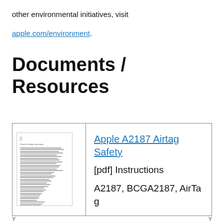other environmental initiatives, visit
apple.com/environment.
Documents / Resources
|  |  |
| --- | --- |
| [thumbnail of document] | Apple A2187 Airtag Safety
[pdf] Instructions
A2187, BCGA2187, AirTag |
Y  Y